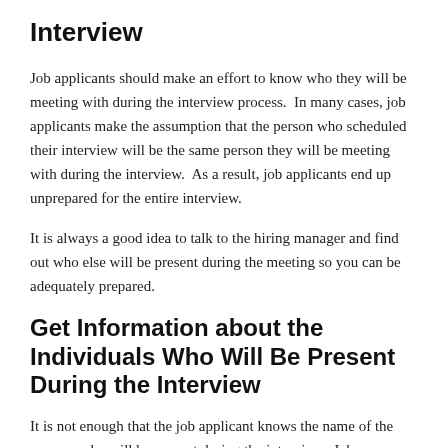Interview
Job applicants should make an effort to know who they will be meeting with during the interview process.  In many cases, job applicants make the assumption that the person who scheduled their interview will be the same person they will be meeting with during the interview.  As a result, job applicants end up unprepared for the entire interview.
It is always a good idea to talk to the hiring manager and find out who else will be present during the meeting so you can be adequately prepared.
Get Information about the Individuals Who Will Be Present During the Interview
It is not enough that the job applicant knows the name of the persons who will be present during the interview.  Job